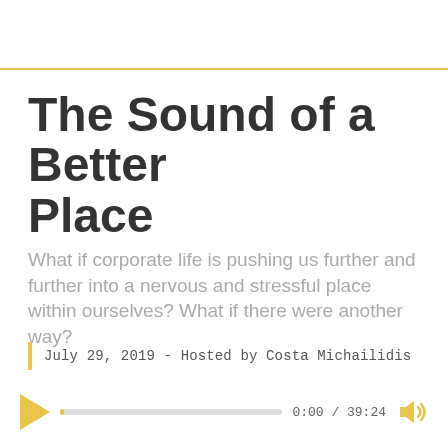The Sound of a Better Place
What if corporate life is pushing us further and further into a nervous and stressful place within ourselves? What if there were another way?
July 29, 2019 - Hosted by Costa Michailidis
[Figure (other): Podcast audio player with play button, progress bar showing 0:00 / 39:24, and volume icon]